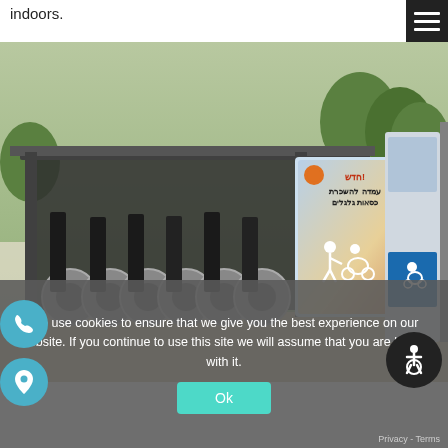indoors.
[Figure (photo): Outdoor wheelchair/bike rental station with a kiosk displaying Hebrew text advertising wheelchair rental service. Several mobility scooters are docked under a covered shelter. The kiosk has a large advertisement with Hebrew text and a graphic of a person pushing someone in a wheelchair.]
We use cookies to ensure that we give you the best experience on our website. If you continue to use this site we will assume that you are happy with it.
Ok
Privacy - Terms